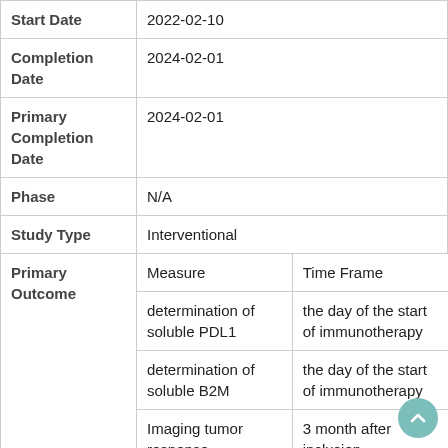| Field | Value |
| --- | --- |
| Start Date | 2022-02-10 |
| Completion Date | 2024-02-01 |
| Primary Completion Date | 2024-02-01 |
| Phase | N/A |
| Study Type | Interventional |
| Primary Outcome | Measure | Time Frame
determination of soluble PDL1 | the day of the start of immunotherapy
determination of soluble B2M | the day of the start of immunotherapy
Imaging tumor response | 3 month after inclusion
Imaging tumor | 6 month after |